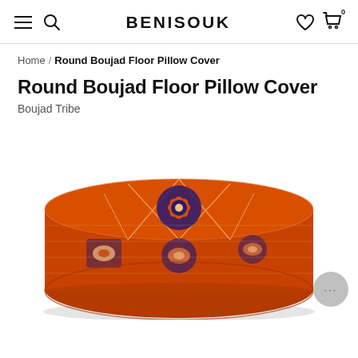BENISOUK
Home / Round Boujad Floor Pillow Cover
Round Boujad Floor Pillow Cover
Boujad Tribe
[Figure (photo): A round Boujad floor pillow cover / pouf in warm orange-red tones with traditional Moroccan geometric and floral patterns in navy, cream, and gold.]